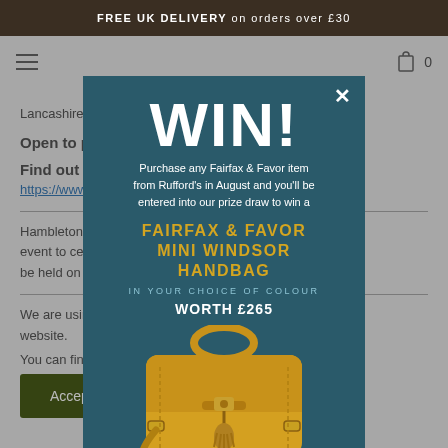FREE UK DELIVERY on orders over £30
Lancashire, R...
Open to pub... required
Find out mo...
https://www...
Hambleton R... osting an event to cela... ee. It will be held on R... 2022
We are using... ence on our website.
You can find o... re using or switch them o...
[Figure (screenshot): Modal popup on a retail website offering a WIN! prize draw. Purchase any Fairfax & Favor item from Rufford's in August to be entered into a draw to win a Fairfax & Favor Mini Windsor Handbag in choice of colour, worth £265. A yellow/mustard coloured Mini Windsor Handbag is shown below the text.]